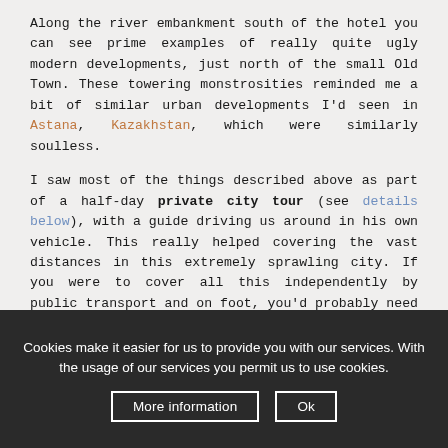Along the river embankment south of the hotel you can see prime examples of really quite ugly modern developments, just north of the small Old Town. These towering monstrosities reminded me a bit of similar urban developments I'd seen in Astana, Kazakhstan, which were similarly soulless.
I saw most of the things described above as part of a half-day private city tour (see details below), with a guide driving us around in his own vehicle. This really helped covering the vast distances in this extremely sprawling city. If you were to cover all this independently by public transport and on foot, you'd probably need a couple of days extra time. So I found it was worth the investment given how little time I had in Minsk.
Cookies make it easier for us to provide you with our services. With the usage of our services you permit us to use cookies.